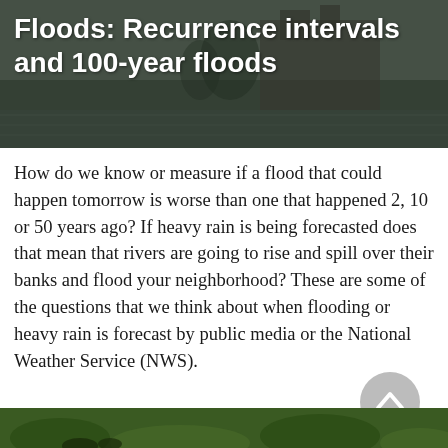[Figure (photo): Flooded building near water with dark sky background, serving as the article header image]
Floods: Recurrence intervals and 100-year floods
How do we know or measure if a flood that could happen tomorrow is worse than one that happened 2, 10 or 50 years ago? If heavy rain is being forecasted does that mean that rivers are going to rise and spill over their banks and flood your neighborhood? These are some of the questions that we think about when flooding or heavy rain is forecast by public media or the National Weather Service (NWS).
Learn More →
[Figure (photo): Partial footer image showing green vegetation, likely a flooded or wetland area]